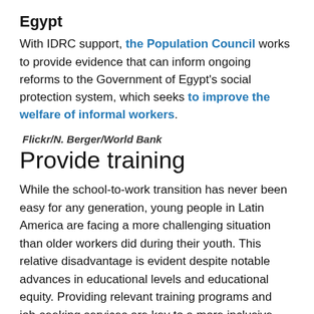Egypt
With IDRC support, the Population Council works to provide evidence that can inform ongoing reforms to the Government of Egypt's social protection system, which seeks to improve the welfare of informal workers.
Flickr/N. Berger/World Bank
Provide training
While the school-to-work transition has never been easy for any generation, young people in Latin America are facing a more challenging situation than older workers did during their youth. This relative disadvantage is evident despite notable advances in educational levels and educational equity. Providing relevant training programs and job-seeking services are key to a more inclusive economy for youth, especially